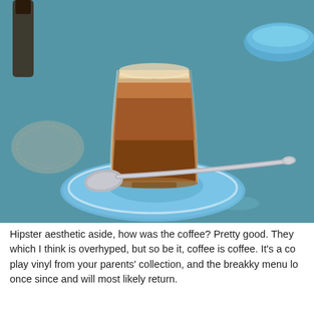[Figure (photo): A glass of layered coffee (cortado/latte style) with a creamy foam top and brown espresso layers, sitting on a blue ceramic saucer with an ornate silver spoon resting alongside it. The saucer is on a teal/green tablecloth. In the background, another blue bowl is visible at top right, and a dark bottle at top left.]
Hipster aesthetic aside, how was the coffee? Pretty good. They which I think is overhyped, but so be it, coffee is coffee. It's a co play vinyl from your parents' collection, and the breakky menu lo once since and will most likely return.